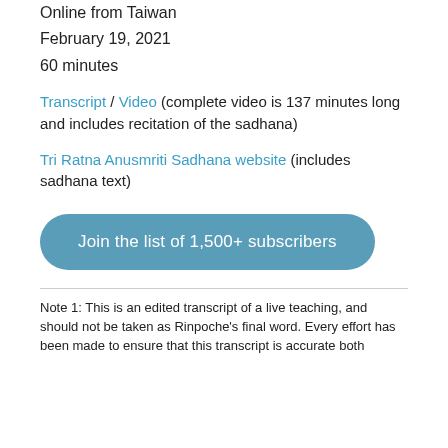Online from Taiwan
February 19, 2021
60 minutes
Transcript / Video (complete video is 137 minutes long and includes recitation of the sadhana)
Tri Ratna Anusmriti Sadhana website (includes sadhana text)
Join the list of 1,500+ subscribers
Note 1: This is an edited transcript of a live teaching, and should not be taken as Rinpoche's final word. Every effort has been made to ensure that this transcript is accurate both